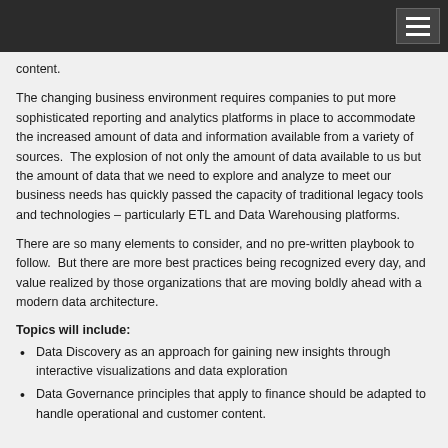content.
The changing business environment requires companies to put more sophisticated reporting and analytics platforms in place to accommodate the increased amount of data and information available from a variety of sources.  The explosion of not only the amount of data available to us but the amount of data that we need to explore and analyze to meet our business needs has quickly passed the capacity of traditional legacy tools and technologies – particularly ETL and Data Warehousing platforms.
There are so many elements to consider, and no pre-written playbook to follow.  But there are more best practices being recognized every day, and value realized by those organizations that are moving boldly ahead with a modern data architecture.
Topics will include:
Data Discovery as an approach for gaining new insights through interactive visualizations and data exploration
Data Governance principles that apply to finance should be adapted to handle operational and customer content.